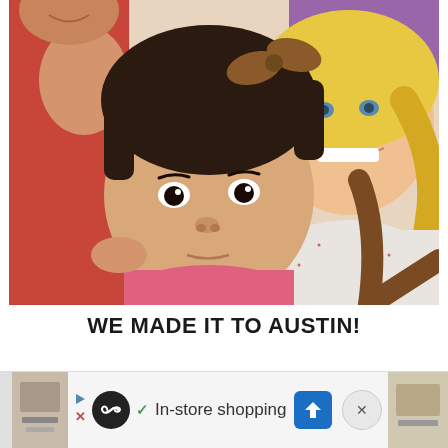[Figure (photo): Selfie photo of a young Asian toddler girl with a brown bow in her hair in the foreground, a smiling blonde woman in a white speckled sweater in the background right, and a person in a red mesh shirt on the left. The toddler has a slightly serious expression.]
WE MADE IT TO AUSTIN!
[Figure (screenshot): Advertisement banner showing a black circle icon with an infinity/loop symbol, a green checkmark, text 'In-store shopping', a blue diamond navigation arrow button, and a close X button. There are small thumbnail images on either side.]